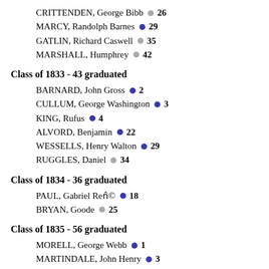CRITTENDEN, George Bibb • 26
MARCY, Randolph Barnes • 29
GATLIN, Richard Caswell • 35
MARSHALL, Humphrey • 42
Class of 1833 - 43 graduated
BARNARD, John Gross • 2
CULLUM, George Washington • 3
KING, Rufus • 4
ALVORD, Benjamin • 22
WESSELLS, Henry Walton • 29
RUGGLES, Daniel • 34
Class of 1834 - 36 graduated
PAUL, Gabriel Renˆ© • 18
BRYAN, Goode • 25
Class of 1835 - 56 graduated
MORELL, George Webb • 1
MARTINDALE, John Henry • 3
STOKES, James Hughes • 17
MEADE, George Gordon • 19
NAGLEE, Henry Morris • 23